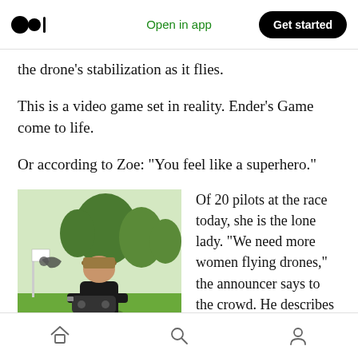Open in app | Get started
the drone’s stabilization as it flies.
This is a video game set in reality. Ender’s Game come to life.
Or according to Zoe: “You feel like a superhero.”
[Figure (photo): Person wearing a hat and black shirt, kneeling on grass holding a drone controller, with trees and a banner in the background]
Of 20 pilots at the race today, she is the lone lady. “We need more women flying drones,” the announcer says to the crowd. He describes
Home | Search | Profile